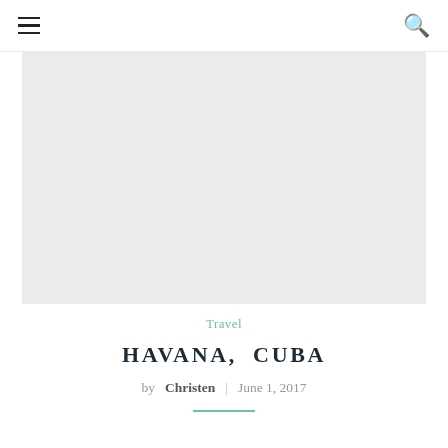☰ [menu icon]   🔍 [search icon]
[Figure (photo): Large light gray placeholder hero image area for a travel blog post about Havana, Cuba]
Travel
HAVANA, CUBA
by Christen | June 1, 2017